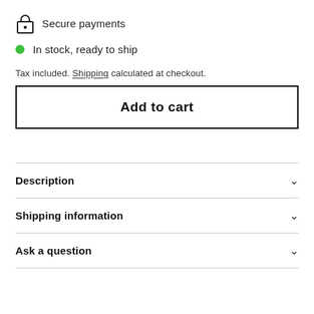Secure payments
In stock, ready to ship
Tax included. Shipping calculated at checkout.
Add to cart
Description
Shipping information
Ask a question